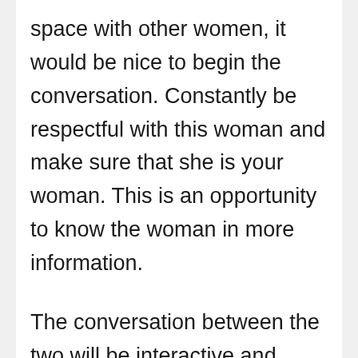space with other women, it would be nice to begin the conversation. Constantly be respectful with this woman and make sure that she is your woman. This is an opportunity to know the woman in more information.
The conversation between the two will be interactive and enjoyable. There are lots of opportunities offered when you talk with a woman.
If you have an opportunity to see them, you can do the filthy by sending out an